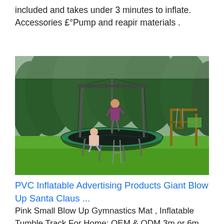included and takes under 3 minutes to inflate. Accessories £°Pump and reapir materials .
[Figure (photo): Photo of a large trampoline with safety net enclosure in a garden setting. Two people are on/near the trampoline — one sitting on the edge and one standing inside jumping. A wooden climbing frame/swing set is visible in the background right. Trees and green grass surround the scene.]
PVC Inflatable Advertising Products Giant Blow Up Santa Claus ...
Pink Small Blow Up Gymnastics Mat , Inflatable Tumble Track For Home; OEM & ODM 3m or 6m Long